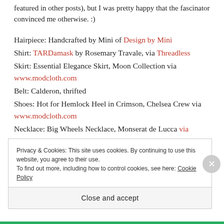featured in other posts), but I was pretty happy that the fascinator convinced me otherwise. :)
Hairpiece: Handcrafted by Mini of Design by Mini
Shirt: TARDamask by Rosemary Travale, via Threadless
Skirt: Essential Elegance Skirt, Moon Collection via www.modcloth.com
Belt: Calderon, thrifted
Shoes: Hot for Hemlock Heel in Crimson, Chelsea Crew via www.modcloth.com
Necklace: Big Wheels Necklace, Monserat de Lucca via www.modcloth.com
Privacy & Cookies: This site uses cookies. By continuing to use this website, you agree to their use. To find out more, including how to control cookies, see here: Cookie Policy
Close and accept